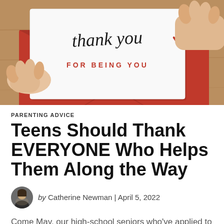[Figure (photo): A hand holding a white card that reads 'thank you FOR BEING YOU' with a small red heart, being pulled from a red envelope on a wooden surface.]
PARENTING ADVICE
Teens Should Thank EVERYONE Who Helps Them Along the Way
by Catherine Newman | April 5, 2022
Come May, our high-school seniors who've applied to college are likely to have lots of feelings. If they